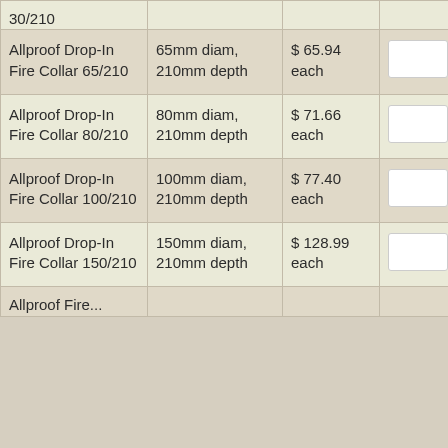| Product | Description | Price | Qty | Total |
| --- | --- | --- | --- | --- |
| 30/210 (partial) |  |  |  |  |
| Allproof Drop-In Fire Collar 65/210 | 65mm diam, 210mm depth | $ 65.94 each |  | $ 0.00 |
| Allproof Drop-In Fire Collar 80/210 | 80mm diam, 210mm depth | $ 71.66 each |  | $ 0.00 |
| Allproof Drop-In Fire Collar 100/210 | 100mm diam, 210mm depth | $ 77.40 each |  | $ 0.00 |
| Allproof Drop-In Fire Collar 150/210 | 150mm diam, 210mm depth | $ 128.99 each |  | $ 0.00 |
| Allproof Fire... (partial) |  |  |  |  |